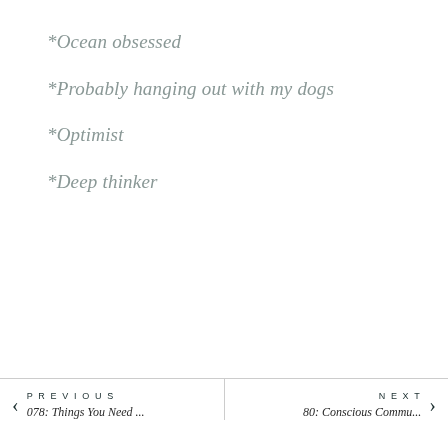*Ocean obsessed
*Probably hanging out with my dogs
*Optimist
*Deep thinker
PREVIOUS 078: Things You Need ... | NEXT 80: Conscious Commu...